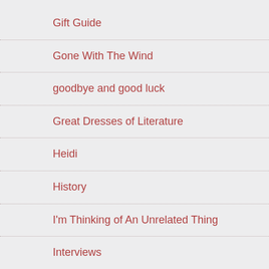Gift Guide
Gone With The Wind
goodbye and good luck
Great Dresses of Literature
Heidi
History
I'm Thinking of An Unrelated Thing
Interviews
Japan
Jumpers